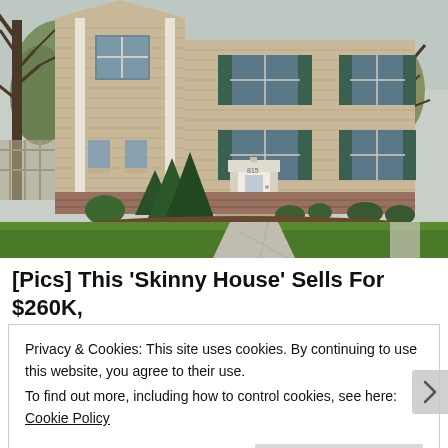[Figure (photo): Exterior photo of a two-story colonial-style house with tan/beige horizontal siding, white trim columns, teal/dark-green shutters, a white front door with steps, evergreen shrubs in front, green lawn, and trees with spring foliage. A concrete walkway leads to the front door.]
[Pics] This 'Skinny House' Sells For $260K, Take A Look Inside
Privacy & Cookies: This site uses cookies. By continuing to use this website, you agree to their use.
To find out more, including how to control cookies, see here: Cookie Policy
Close and accept